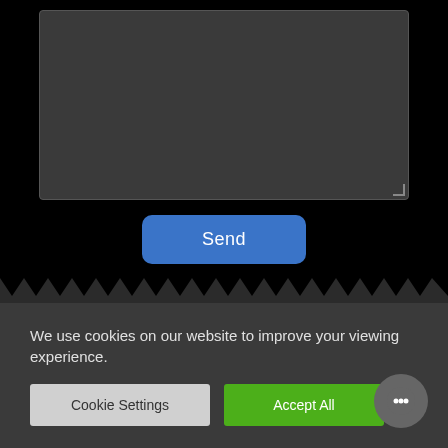[Figure (screenshot): Dark textarea input box with resize handle in bottom-right corner]
Send
[Figure (illustration): Zigzag wave divider between main content and footer]
Company
Shop
We use cookies on our website to improve your viewing experience.
Cookie Settings
Accept All